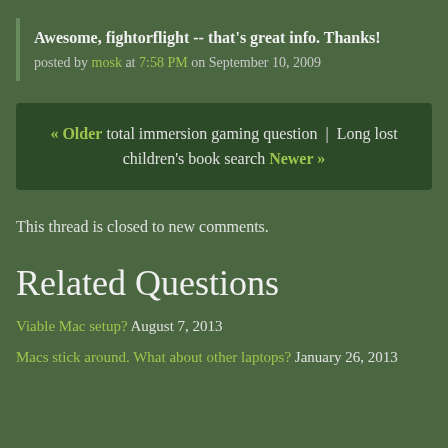Awesome, fightorflight -- that's great info. Thanks!
posted by mosk at 7:58 PM on September 10, 2009
« Older total immersion gaming question | Long lost children's book search Newer »
This thread is closed to new comments.
Related Questions
Viable Mac setup? August 7, 2013
Macs stick around. What about other laptops? January 26, 2013